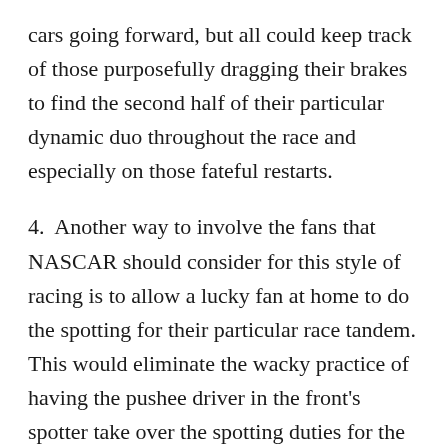cars going forward, but all could keep track of those purposefully dragging their brakes to find the second half of their particular dynamic duo throughout the race and especially on those fateful restarts.
4.  Another way to involve the fans that NASCAR should consider for this style of racing is to allow a lucky fan at home to do the spotting for their particular race tandem. This would eliminate the wacky practice of having the pushee driver in the front's spotter take over the spotting duties for the tandem.
Heck, most of the drivers were confused anyway